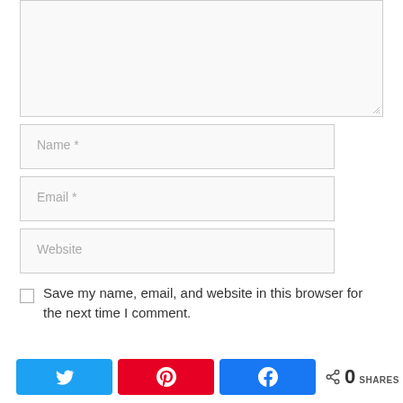[Figure (screenshot): Comment form partial view with textarea at top (resizable), followed by Name, Email, Website input fields, a checkbox with label 'Save my name, email, and website in this browser for the next time I comment.', and a social share bar at the bottom with Twitter, Pinterest, and Facebook buttons and a share count of 0 SHARES.]
Name *
Email *
Website
Save my name, email, and website in this browser for the next time I comment.
0 SHARES